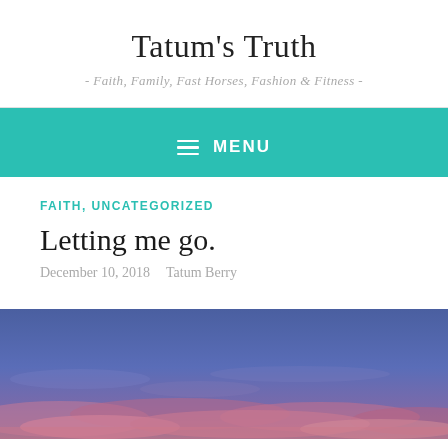Tatum's Truth
- Faith, Family, Fast Horses, Fashion & Fitness -
≡ MENU
FAITH, UNCATEGORIZED
Letting me go.
December 10, 2018   Tatum Berry
[Figure (photo): Sunset or twilight sky photograph with deep blue sky and pink/purple clouds near the horizon]